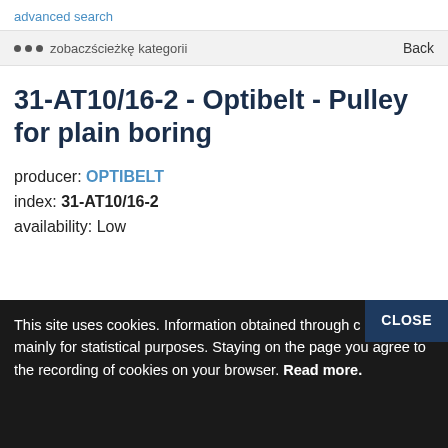advanced search
... zobaczścieżkę kategorii   Back
31-AT10/16-2 - Optibelt - Pulley for plain boring
producer: OPTIBELT
index: 31-AT10/16-2
availability: Low
CLOSE
This site uses cookies. Information obtained through c are used mainly for statistical purposes. Staying on the page you agree to the recording of cookies on your browser. Read more.